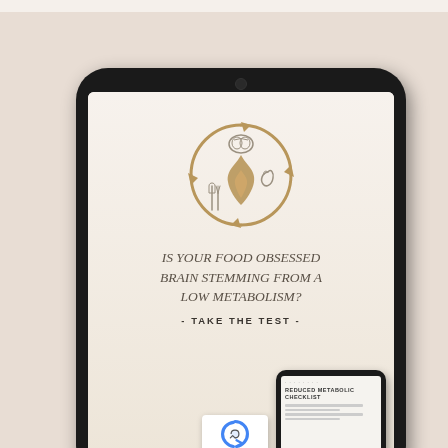[Figure (screenshot): A smartphone mockup showing an app or website screen. The screen displays a circular icon with a flame, brain, stomach, and fork/knife arranged in a cycle diagram. Below the icon are the words 'IS YOUR FOOD OBSESSED BRAIN STEMMING FROM A LOW METABOLISM?' and '- TAKE THE TEST -'. A second smaller smartphone is partially visible in the bottom right, showing 'REDUCED METABOLIC CHECKLIST'. A reCAPTCHA badge shows in the corner with 'Privacy - Terms'.]